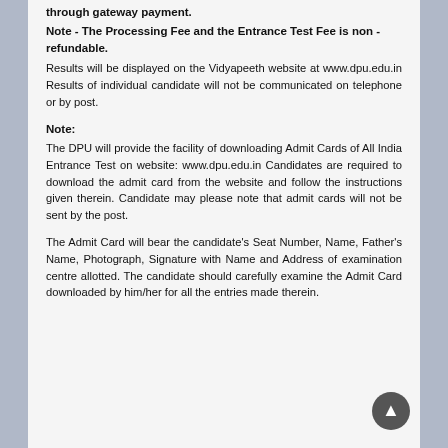through gateway payment.
Note - The Processing Fee and the Entrance Test Fee is non - refundable.
Results will be displayed on the Vidyapeeth website at www.dpu.edu.in Results of individual candidate will not be communicated on telephone or by post.
Note:
The DPU will provide the facility of downloading Admit Cards of All India Entrance Test on website: www.dpu.edu.in Candidates are required to download the admit card from the website and follow the instructions given therein. Candidate may please note that admit cards will not be sent by the post.
The Admit Card will bear the candidate's Seat Number, Name, Father's Name, Photograph, Signature with Name and Address of examination centre allotted. The candidate should carefully examine the Admit Card downloaded by him/her for all the entries made therein.